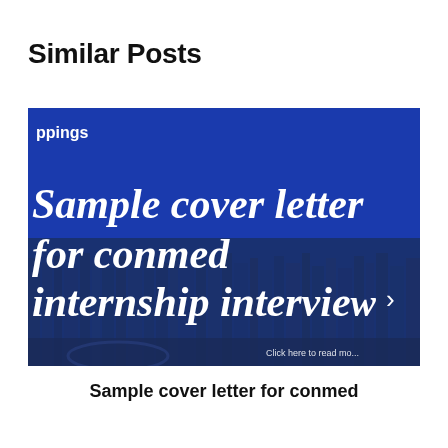Similar Posts
[Figure (screenshot): Screenshot of a blog post thumbnail with a blue background and city skyline photo overlay. White text reads 'ppings' in top-left, large white serif text reads 'Sample cover letter for conmed internship interview'. A right arrow icon and 'Click here to read mo...' text appear at the bottom-right.]
Sample cover letter for conmed